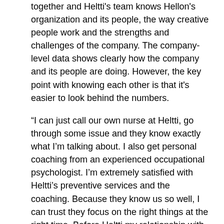together and Heltti's team knows Hellon's organization and its people, the way creative people work and the strengths and challenges of the company. The company-level data shows clearly how the company and its people are doing. However, the key point with knowing each other is that it's easier to look behind the numbers.
“I can just call our own nurse at Heltti, go through some issue and they know exactly what I’m talking about. I also get personal coaching from an experienced occupational psychologist. I’m extremely satisfied with Heltti’s preventive services and the coaching. Because they know us so well, I can trust they focus on the right things at the right time. Before Heltti my relationship with occupational health care providers was very distant and there was no real interaction. This is different now.”